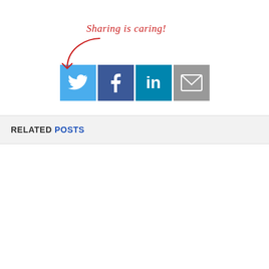[Figure (infographic): Sharing is caring callout with arrow pointing to social media icons (Twitter, Facebook, LinkedIn, Email)]
RELATED POSTS